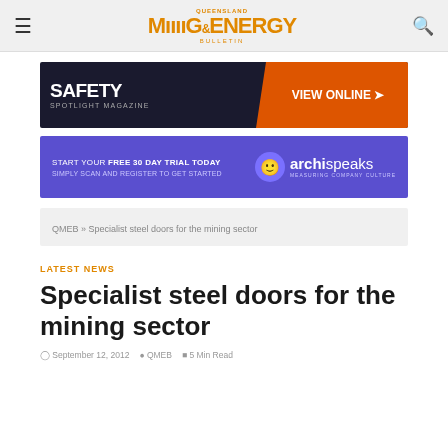QUEENSLAND MINING & ENERGY BULLETIN
[Figure (other): Safety Spotlight Magazine advertisement banner with dark background showing SAFETY text, spotlight magazine label, and VIEW ONLINE orange call to action button]
[Figure (other): Archispeaks advertisement banner with purple background, text START YOUR FREE 30 DAY TRIAL TODAY SIMPLY SCAN AND REGISTER TO GET STARTED, archispeaks logo and tagline MEASURING COMPANY CULTURE]
QMEB » Specialist steel doors for the mining sector
LATEST NEWS
Specialist steel doors for the mining sector
September 12, 2012   QMEB   5 Min Read